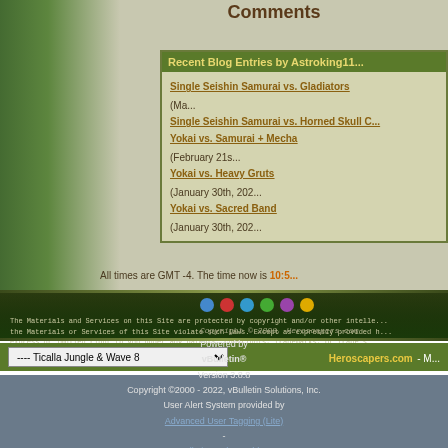Comments
Recent Blog Entries by Astroking11...
Single Seishin Samurai vs. Gladiators (Ma...)
Single Seishin Samurai vs. Horned Skull C...
Yokai vs. Samurai + Mecha (February 21s...)
Yokai vs. Heavy Gruts (January 30th, 202...)
Yokai vs. Sacred Band (January 30th, 202...)
All times are GMT -4. The time now is 10:5...
The Materials and Services on this Site are protected by copyright and/or other intelle... the Materials or Services of this Site violate such laws. Except as expressly provided h... express or implied right to you under any patents, copyrights, trademarks, or trade s... and Services displayed on or provided by this site. No portion of the information or do... form or by any means without the prior written permission of the Site Adminsitr...
Copyright © 2008, Heroscapers.com
---- Ticalla Jungle & Wave 8
Heroscapers.com - M...
Powered by vBulletin® Version 3.8.8
Copyright ©2000 - 2022, vBulletin Solutions, Inc.
User Alert System provided by ... - vBulletin Mods & Addons
Copyright © 2022 DragonByte Technologies Ltd.